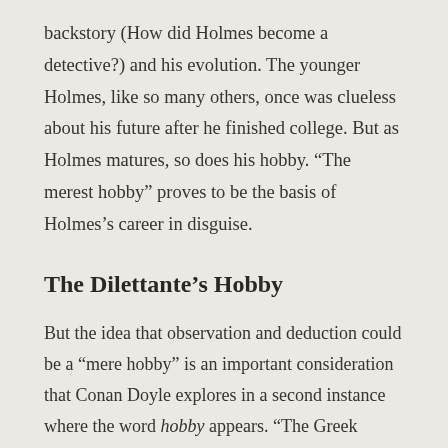backstory (How did Holmes become a detective?) and his evolution. The younger Holmes, like so many others, once was clueless about his future after he finished college. But as Holmes matures, so does his hobby. “The merest hobby” proves to be the basis of Holmes’s career in disguise.
The Dilettante’s Hobby
But the idea that observation and deduction could be a “mere hobby” is an important consideration that Conan Doyle explores in a second instance where the word hobby appears. “The Greek Interpreter” introduces Mycroft Holmes, Sherlock’s elder brother, who apparently surpasses his younger sibling in these